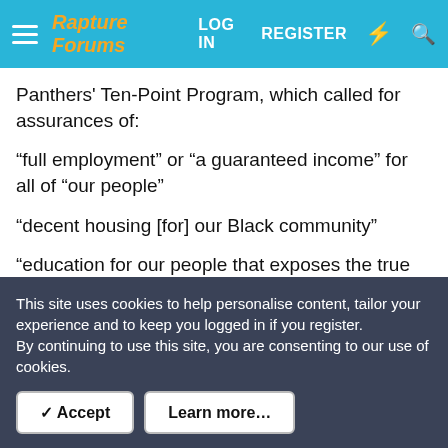Rapture Forums — LOG IN  REGISTER
Panthers' Ten-Point Program, which called for assurances of:
“full employment” or “a guaranteed income” for all of “our people”
“decent housing [for] our Black community”
“education for our people that exposes the true nature of this decadent American society [and] teaches us our true history and our role in the present-day society”
In a number of very significant respects, BLM is a modern-day
This site uses cookies to help personalise content, tailor your experience and to keep you logged in if you register.
By continuing to use this site, you are consenting to our use of cookies.
✓ Accept   Learn more…